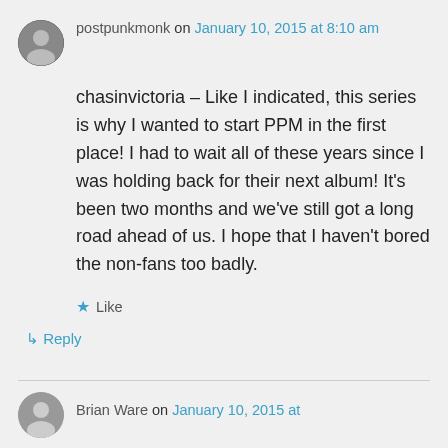postpunkmonk on January 10, 2015 at 8:10 am
chasinvictoria – Like I indicated, this series is why I wanted to start PPM in the first place! I had to wait all of these years since I was holding back for their next album! It's been two months and we've still got a long road ahead of us. I hope that I haven't bored the non-fans too badly.
Like
Reply
Brian Ware on January 10, 2015 at